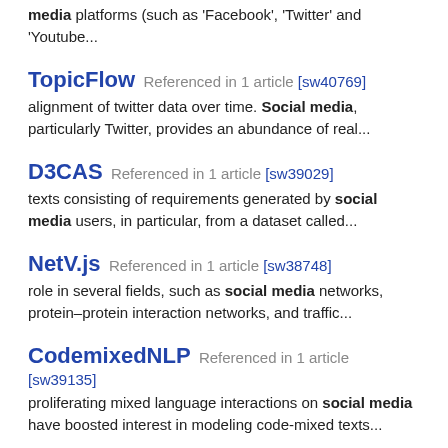media platforms (such as 'Facebook', 'Twitter' and 'Youtube...
TopicFlow  Referenced in 1 article  [sw40769]
alignment of twitter data over time. Social media, particularly Twitter, provides an abundance of real...
D3CAS  Referenced in 1 article  [sw39029]
texts consisting of requirements generated by social media users, in particular, from a dataset called...
NetV.js  Referenced in 1 article  [sw38748]
role in several fields, such as social media networks, protein–protein interaction networks, and traffic...
CodemixedNLP  Referenced in 1 article  [sw39135]
proliferating mixed language interactions on social media have boosted interest in modeling code-mixed texts...